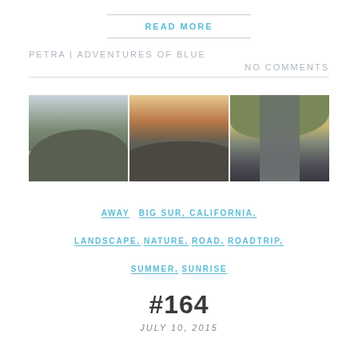READ MORE
PETRA | ADVENTURES OF BLUE
NO COMMENTS
[Figure (photo): Three landscape photos side by side: misty mountain hills, foggy valley at sunset, and a road leading through brown hills under blue sky.]
AWAY   BIG SUR, CALIFORNIA,  LANDSCAPE, NATURE, ROAD, ROADTRIP,  SUMMER, SUNRISE
#164
JULY 10, 2015